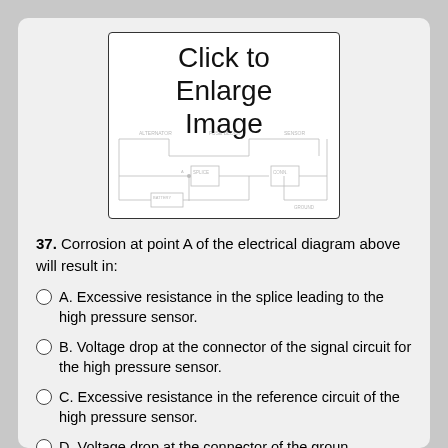[Figure (schematic): Click to Enlarge Image button with a faint electrical circuit diagram schematic in the background]
37. Corrosion at point A of the electrical diagram above will result in:
A. Excessive resistance in the splice leading to the high pressure sensor.
B. Voltage drop at the connector of the signal circuit for the high pressure sensor.
C. Excessive resistance in the reference circuit of the high pressure sensor.
D. Voltage drop at the connector of the ground